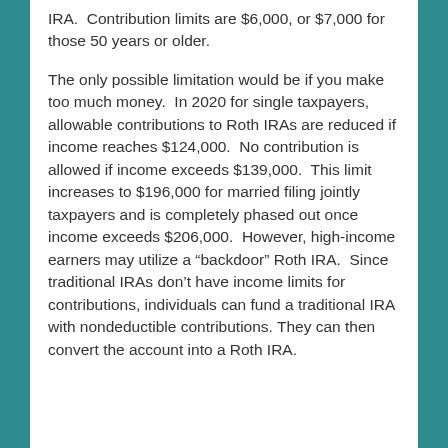IRA.  Contribution limits are $6,000, or $7,000 for those 50 years or older.
The only possible limitation would be if you make too much money.  In 2020 for single taxpayers, allowable contributions to Roth IRAs are reduced if income reaches $124,000.  No contribution is allowed if income exceeds $139,000.  This limit increases to $196,000 for married filing jointly taxpayers and is completely phased out once income exceeds $206,000.  However, high-income earners may utilize a “backdoor” Roth IRA.  Since traditional IRAs don’t have income limits for contributions, individuals can fund a traditional IRA with nondeductible contributions. They can then convert the account into a Roth IRA.